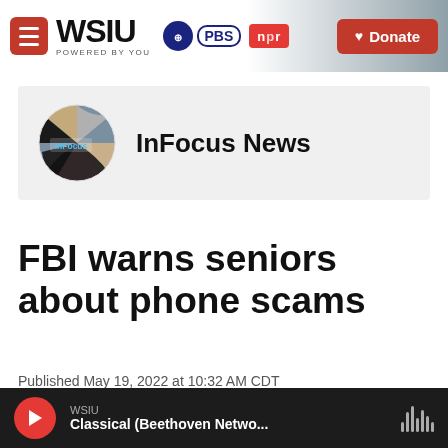WSIU Powered By You | PBS | NPR | Donate
[Figure (logo): InFocus News circular logo with images of a building, horse, and child]
InFocus News
FBI warns seniors about phone scams
Published May 19, 2022 at 10:32 AM CDT
[Figure (screenshot): WSIU audio player bar showing Classical (Beethoven Netwo... with play button and audio waveform icon]